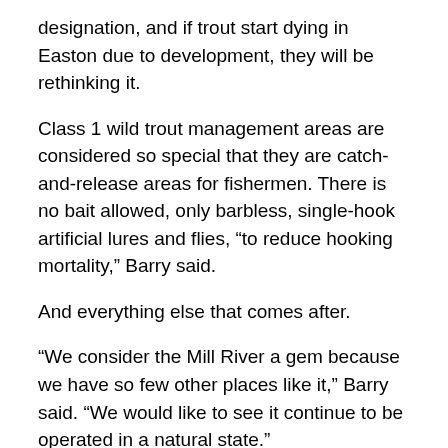designation, and if trout start dying in Easton due to development, they will be rethinking it.
Class 1 wild trout management areas are considered so special that they are catch-and-release areas for fishermen. There is no bait allowed, only barbless, single-hook artificial lures and flies, “to reduce hooking mortality,” Barry said.
And everything else that comes after.
“We consider the Mill River a gem because we have so few other places like it,” Barry said. “We would like to see it continue to be operated in a natural state.”
NEXT WEEK: How residents banded together and saved Trout Brook Valley and The Four Corners in Easton in the 1990s.